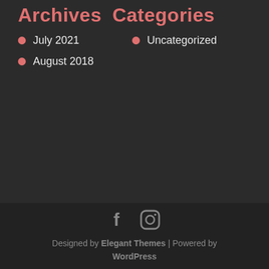Archives
Categories
July 2021
Uncategorized
August 2018
Designed by Elegant Themes | Powered by WordPress